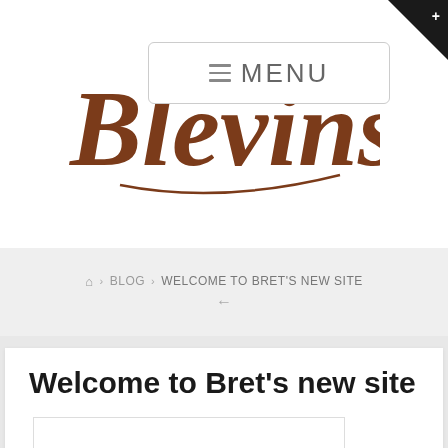[Figure (logo): Blevins website logo in brown handwritten/script font]
[Figure (screenshot): Navigation menu button with hamburger icon and MENU text]
🏠 › BLOG › WELCOME TO BRET'S NEW SITE
Welcome to Bret's new site
[Figure (photo): Empty white image placeholder box]